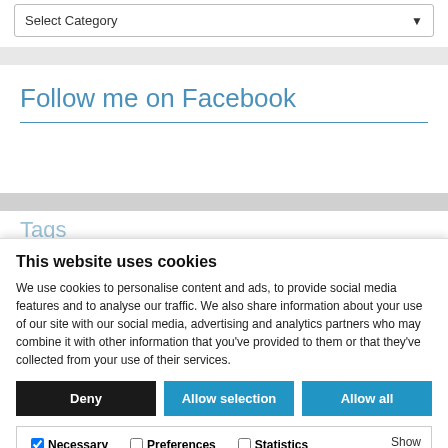Select Category
Follow me on Facebook
Tags
This website uses cookies
We use cookies to personalise content and ads, to provide social media features and to analyse our traffic. We also share information about your use of our site with our social media, advertising and analytics partners who may combine it with other information that you've provided to them or that they've collected from your use of their services.
Deny | Allow selection | Allow all
Necessary | Preferences | Statistics | Marketing | Show details